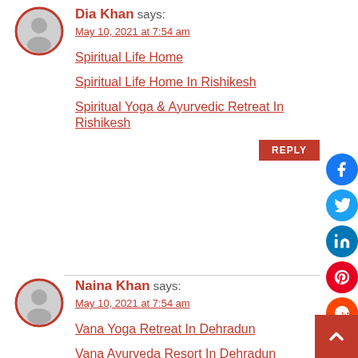[Figure (illustration): Grey avatar circle with red border for user Dia Khan]
Dia Khan says:
May 10, 2021 at 7:54 am
Spiritual Life Home
Spiritual Life Home In Rishikesh
Spiritual Yoga & Ayurvedic Retreat In Rishikesh
REPLY
[Figure (illustration): Grey avatar circle with red border for user Naina Khan]
Naina Khan says:
May 10, 2021 at 7:54 am
Vana Yoga Retreat In Dehradun
Vana Ayurveda Resort In Dehradun